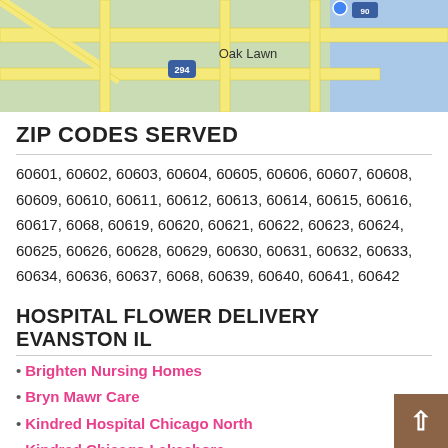[Figure (map): Street map showing Oak Lawn area with route 294 and 90, yellow roads on light green/blue background]
ZIP CODES SERVED
60601, 60602, 60603, 60604, 60605, 60606, 60607, 60608, 60609, 60610, 60611, 60612, 60613, 60614, 60615, 60616, 60617, 6068, 60619, 60620, 60621, 60622, 60623, 60624, 60625, 60626, 60628, 60629, 60630, 60631, 60632, 60633, 60634, 60636, 60637, 6068, 60639, 60640, 60641, 60642
HOSPITAL FLOWER DELIVERY EVANSTON IL
Brighten Nursing Homes
Bryn Mawr Care
Kindred Hospital Chicago North
Kindred Chicago Lakeshore
Kindred Chicago Central Hospital
Harmony Healthcare & Rehabilitation Center